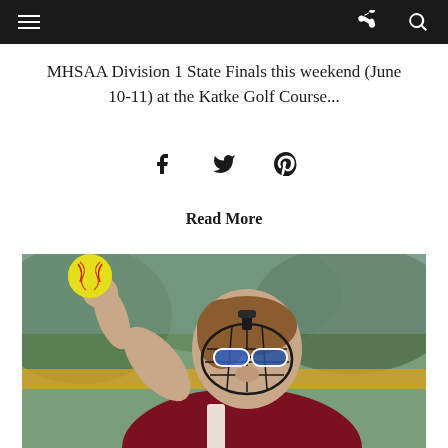Navigation bar with hamburger menu, share icon, and search icon
MHSAA Division 1 State Finals this weekend (June 10-11) at the Katke Golf Course...
[Figure (other): Social media share icons: Facebook (f), Twitter (bird), Pinterest (P)]
Read More
[Figure (photo): Close-up photo of a female softball pitcher wearing a maroon jersey, face guard, and blue mirrored sunglasses, winding up to throw a yellow softball]